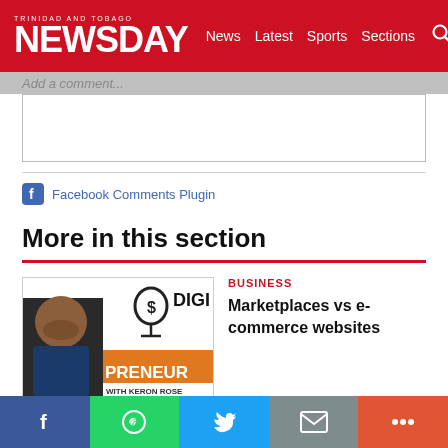TRINIDAD AND TOBAGO NEWSDAY — News Latest Sports Sections
Add a comment...
Facebook Comments Plugin
More in this section
BUSINESS
Marketplaces vs e-commerce websites
[Figure (photo): Digipreneu with Keron Rose podcast promotional image showing a man smiling with a microphone logo and orange/white branding]